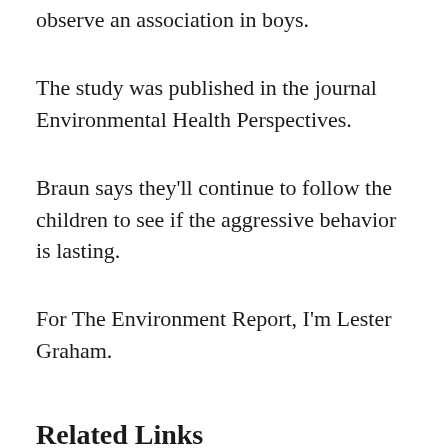observe an association in boys.
The study was published in the journal Environmental Health Perspectives.
Braun says they'll continue to follow the children to see if the aggressive behavior is lasting.
For The Environment Report, I'm Lester Graham.
Related Links
The study
A related article from USA Today